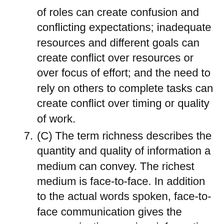of roles can create confusion and conflicting expectations; inadequate resources and different goals can create conflict over resources or over focus of effort; and the need to rely on others to complete tasks can create conflict over timing or quality of work.
7. (C) The term richness describes the quantity and quality of information a medium can convey. The richest medium is face-to-face. In addition to the actual words spoken, face-to-face communication gives the communication receiver information in the form of non-verbal language and vocal inflection.
8. (E) Vertical communication refers to information sharing between staff in...